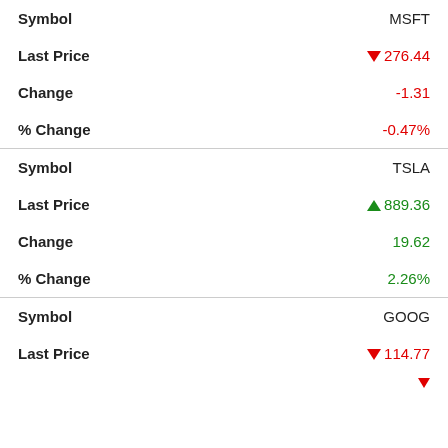| Field | Value |
| --- | --- |
| Symbol | MSFT |
| Last Price | ▼ 276.44 |
| Change | -1.31 |
| % Change | -0.47% |
| Symbol | TSLA |
| Last Price | ▲ 889.36 |
| Change | 19.62 |
| % Change | 2.26% |
| Symbol | GOOG |
| Last Price | ▼ 114.77 |